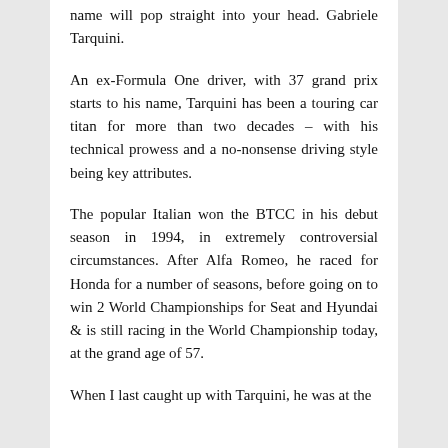name will pop straight into your head. Gabriele Tarquini.
An ex-Formula One driver, with 37 grand prix starts to his name, Tarquini has been a touring car titan for more than two decades – with his technical prowess and a no-nonsense driving style being key attributes.
The popular Italian won the BTCC in his debut season in 1994, in extremely controversial circumstances. After Alfa Romeo, he raced for Honda for a number of seasons, before going on to win 2 World Championships for Seat and Hyundai & is still racing in the World Championship today, at the grand age of 57.
When I last caught up with Tarquini, he was at the...